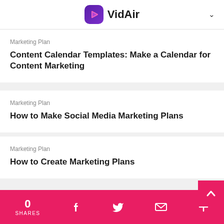VidAir
Marketing Plan
Content Calendar Templates: Make a Calendar for Content Marketing
Marketing Plan
How to Make Social Media Marketing Plans
Marketing Plan
How to Create Marketing Plans
0 SHARES